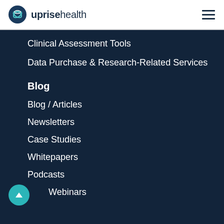uprise health
Clinical Assessment Tools
Data Purchase & Research-Related Services
Blog
Blog / Articles
Newsletters
Case Studies
Whitepapers
Podcasts
Webinars